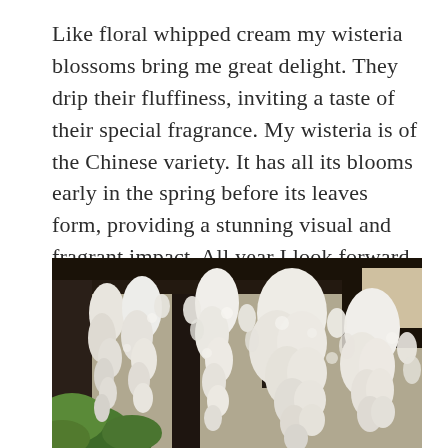Like floral whipped cream my wisteria blossoms bring me great delight. They drip their fluffiness, inviting a taste of their special fragrance. My wisteria is of the Chinese variety. It has all its blooms early in the spring before its leaves form, providing a stunning visual and fragrant impact. All year I look forward to this event, and because the plant grows larger every year, this event gets more and more delicious.
[Figure (photo): Photograph of white wisteria blossoms hanging in clusters from a dark wooden pergola structure, with green foliage visible in the lower left. The blooms are dense and drooping downward, photographed in bright daylight.]